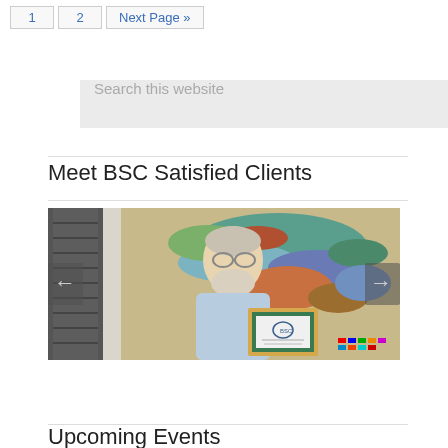1   2   Next Page »
Search this website
Meet BSC Satisfied Clients
[Figure (photo): Man with white beard and glasses holding a framed BSC certificate/plaque, standing in front of a colorful world map. Navigation arrows visible on left and right sides of the photo.]
Upcoming Events